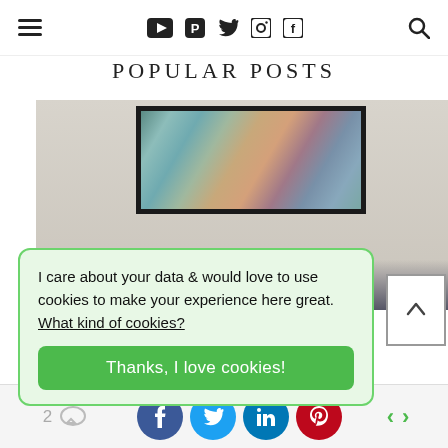POPULAR POSTS
[Figure (photo): Photo of a room wall with a large abstract painting in blue, teal, and warm tones in a black frame, mounted on a beige/gray wall]
I care about your data & would love to use cookies to make your experience here great. What kind of cookies?
Thanks, I love cookies!
2 comment icon | Facebook share | Twitter share | LinkedIn share | Pinterest share | previous | next